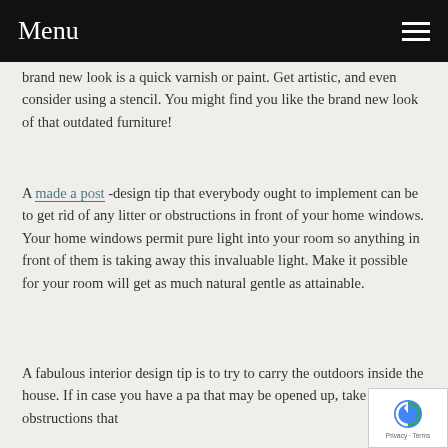Menu
brand new look is a quick varnish or paint. Get artistic, and even consider using a stencil. You might find you like the brand new look of that outdated furniture!
A made a post -design tip that everybody ought to implement can be to get rid of any litter or obstructions in front of your home windows. Your home windows permit pure light into your room so anything in front of them is taking away this invaluable light. Make it possible for your room will get as much natural gentle as attainable.
A fabulous interior design tip is to try to carry the outdoors inside the house. If in case you have a pa that may be opened up, take away the obstructions that